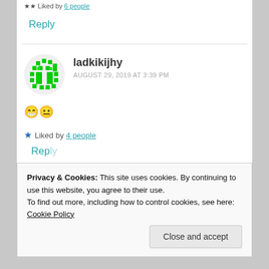Liked by 6 people
Reply
ladkikijhy
AUGUST 29, 2019 AT 3:39 PM
😁😐
Liked by 4 people
Reply
Privacy & Cookies: This site uses cookies. By continuing to use this website, you agree to their use.
To find out more, including how to control cookies, see here: Cookie Policy
Close and accept